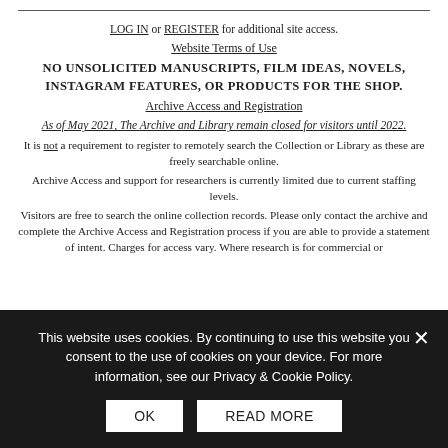LOG IN or REGISTER for additional site access.
Website Terms of Use
NO UNSOLICITED MANUSCRIPTS, FILM IDEAS, NOVELS, INSTAGRAM FEATURES, OR PRODUCTS FOR THE SHOP.
Archive Access and Registration
As of May 2021, The Archive and Library remain closed for visitors until 2022.
It is not a requirement to register to remotely search the Collection or Library as these are freely searchable online.
Archive Access and support for researchers is currently limited due to current staffing levels.
Visitors are free to search the online collection records. Please only contact the archive and complete the Archive Access and Registration process if you are able to provide a statement of intent. Charges for access vary. Where research is for commercial or
This website uses cookies. By continuing to use this website you consent to the use of cookies on your device. For more information, see our Privacy & Cookie Policy.
OK
READ MORE